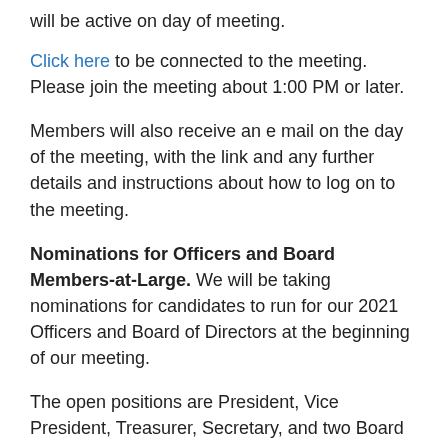will be active on day of meeting.
Click here to be connected to the meeting. Please join the meeting about 1:00 PM or later.
Members will also receive an e mail on the day of the meeting, with the link and any further details and instructions about how to log on to the meeting.
Nominations for Officers and Board Members-at-Large. We will be taking nominations for candidates to run for our 2021 Officers and Board of Directors at the beginning of our meeting.
The open positions are President, Vice President, Treasurer, Secretary, and two Board